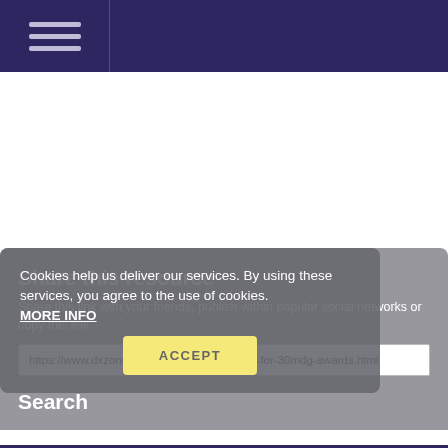≡ (hamburger menu navigation bar)
Cookies help us deliver our services. By using these services, you agree to the use of cookies. MORE INFO
ACCEPT
Share this resource
Share this link with your friends, publish within popular social networks or copy this link
https://www.dxzone.com/dx27228/ultimate30-for-30mdg-awards.html
Search